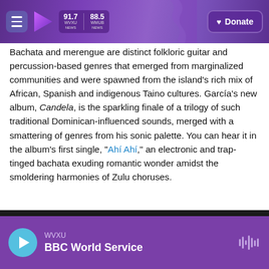WVXU 91.7 NEWS | WMUB 88.5 NEWS | Donate
Bachata and merengue are distinct folkloric guitar and percussion-based genres that emerged from marginalized communities and were spawned from the island's rich mix of African, Spanish and indigenous Taino cultures. García's new album, Candela, is the sparkling finale of a trilogy of such traditional Dominican-influenced sounds, merged with a smattering of genres from his sonic palette. You can hear it in the album's first single, "Ahí Ahí," an electronic and trap-tinged bachata exuding romantic wonder amidst the smoldering harmonies of Zulu choruses.
WVXU | BBC World Service